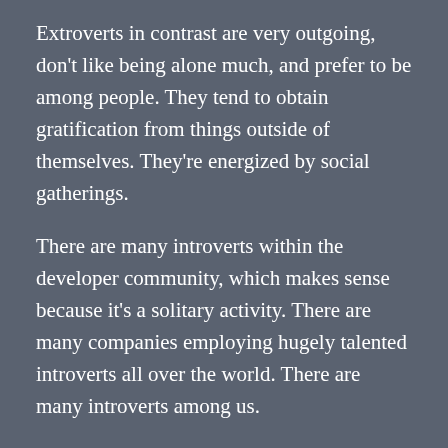Extroverts in contrast are very outgoing, don't like being alone much, and prefer to be among people. They tend to obtain gratification from things outside of themselves. They're energized by social gatherings.
There are many introverts within the developer community, which makes sense because it's a solitary activity. There are many companies employing hugely talented introverts all over the world. There are many introverts among us.
Eric at WordCamp San Francisco
About four (I think) years ago Eric felt that